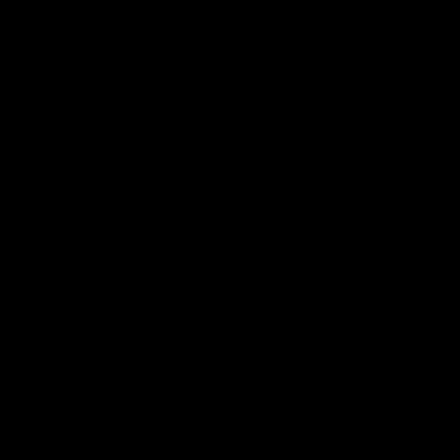Cu in Pas nex we on the 15t Me we can can and me up wit sor oth blo Oh me my